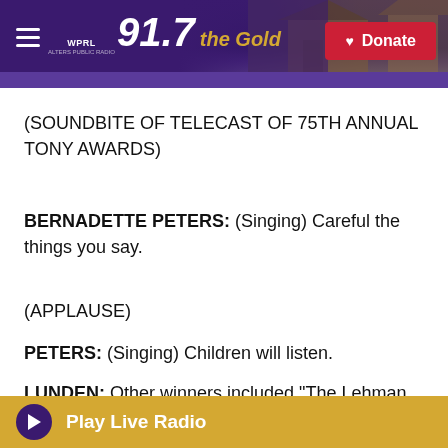WPRL 91.7 The Gold | Donate
(SOUNDBITE OF TELECAST OF 75TH ANNUAL TONY AWARDS)
BERNADETTE PETERS: (Singing) Careful the things you say.
(APPLAUSE)
PETERS: (Singing) Children will listen.
LUNDEN: Other winners included "The Lehman Trilogy," an epic three-actor drama which took home five awards, including best play, and "Take Me...
Play Live Radio